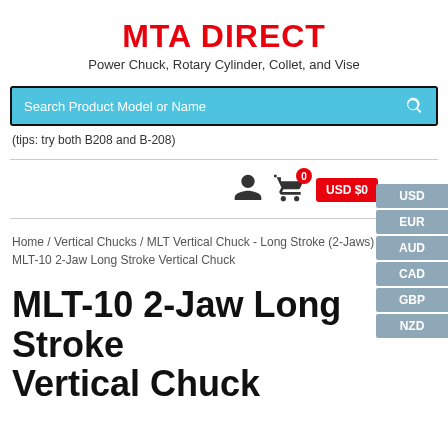MTA DIRECT
Power Chuck, Rotary Cylinder, Collet, and Vise
[Figure (screenshot): Search bar with placeholder text 'Search Product Model or Name' on a light blue background with a search icon]
(tips: try both B208 and B-208)
[Figure (infographic): Currency selector panel on the right side with USD, EUR, AUD, CAD, GBP, NZD buttons]
[Figure (infographic): User account icon, shopping cart icon with badge '0', and USD $0 red button]
Home / Vertical Chucks / MLT Vertical Chuck - Long Stroke (2-Jaws) / MLT-10 2-Jaw Long Stroke Vertical Chuck
MLT-10 2-Jaw Long Stroke Vertical Chuck